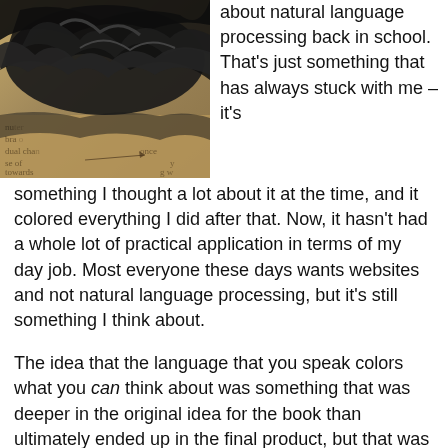[Figure (photo): Photo of a burned/charred book with torn blackened pages, showing partially visible text underneath the damage including words like 'towards', 'dual cha', 'bra', 'once', 'se of']
about natural language processing back in school. That's just something that has always stuck with me – it's something I thought a lot about it at the time, and it colored everything I did after that. Now, it hasn't had a whole lot of practical application in terms of my day job. Most everyone these days wants websites and not natural language processing, but it's still something I think about.
The idea that the language that you speak colors what you can think about was something that was deeper in the original idea for the book than ultimately ended up in the final product, but that was one of the starting places for it. This Pelapi language was 60,000 years old and if you learned that as your mother tongue, then you would be able to think about things and concepts that would not be easily available to modern language